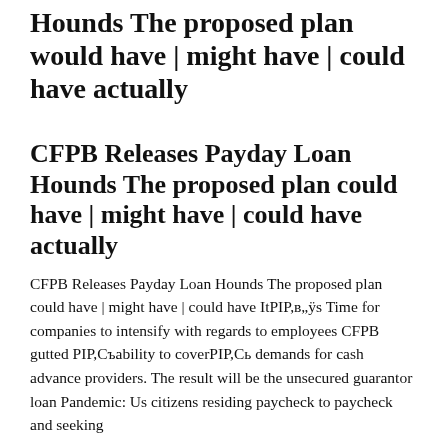Hounds The proposed plan would have | might have | could have actually
CFPB Releases Payday Loan Hounds The proposed plan could have | might have | could have actually
CFPB Releases Payday Loan Hounds The proposed plan could have | might have | could have ItPIP,в„ÿs Time for companies to intensify with regards to employees CFPB gutted PIP,Съability to coverPIP,Сь demands for cash advance providers. The result will be the unsecured guarantor loan Pandemic: Us citizens residing paycheck to paycheck and seeking